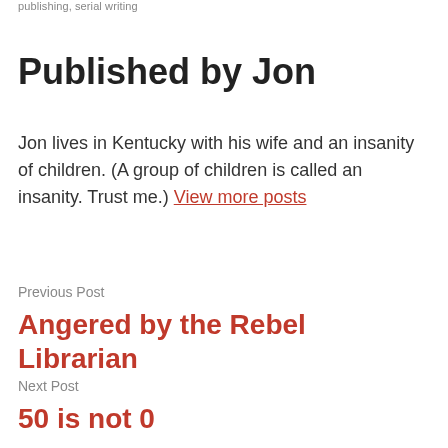publishing, serial writing
Published by Jon
Jon lives in Kentucky with his wife and an insanity of children. (A group of children is called an insanity. Trust me.) View more posts
Previous Post
Angered by the Rebel Librarian
Next Post
50 is not 0